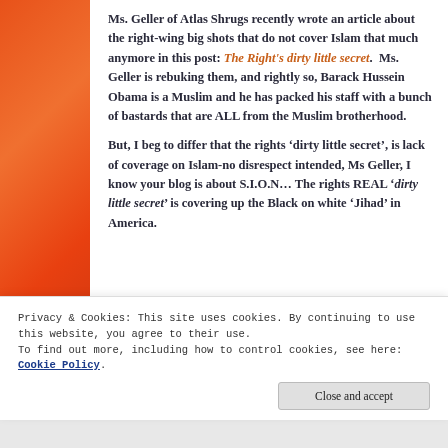Ms. Geller of Atlas Shrugs recently wrote an article about the right-wing big shots that do not cover Islam that much anymore in this post: The Right's dirty little secret.  Ms. Geller is rebuking them, and rightly so, Barack Hussein Obama is a Muslim and he has packed his staff with a bunch of bastards that are ALL from the Muslim brotherhood.
But, I beg to differ that the rights 'dirty little secret', is lack of coverage on Islam-no disrespect intended, Ms Geller, I know your blog is about S.I.O.N… The rights REAL 'dirty little secret' is covering up the Black on white 'Jihad' in America.
Privacy & Cookies: This site uses cookies. By continuing to use this website, you agree to their use.
To find out more, including how to control cookies, see here: Cookie Policy
Close and accept